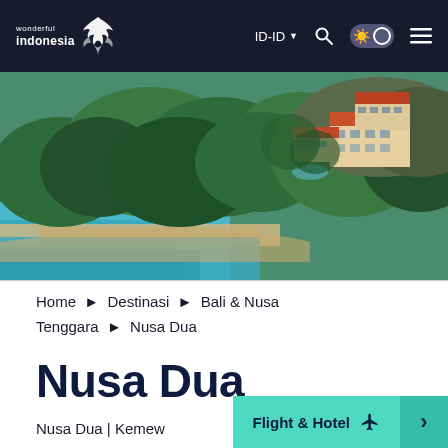wonderful indonesia | ID-ID
[Figure (photo): Aerial view of Nusa Dua resort area showing beach, turquoise water, dense tropical greenery, and orange-roofed resort buildings on a clifftop]
Home ▶ Destinasi ▶ Bali & Nusa Tenggara ▶ Nusa Dua
Nusa Dua
Nusa Dua | Kemew...
Flight & Hotel ✈ ›